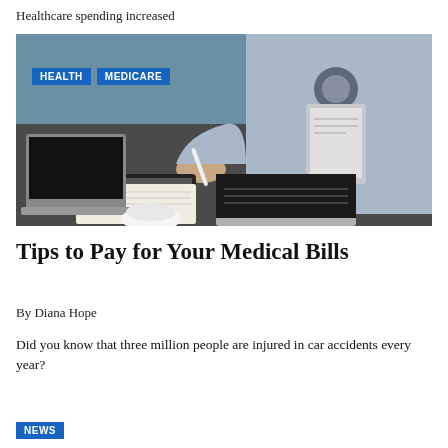Healthcare spending increased
[Figure (photo): A medical professional wearing scrubs and a stethoscope holding a clipboard/tablet, with a calculator, papers, and a dental model on the desk, and a laptop in the foreground. Tags 'HEALTH' and 'MEDICARE' overlay the top-left of the image.]
Tips to Pay for Your Medical Bills
By Diana Hope
Did you know that three million people are injured in car accidents every year?
NEWS